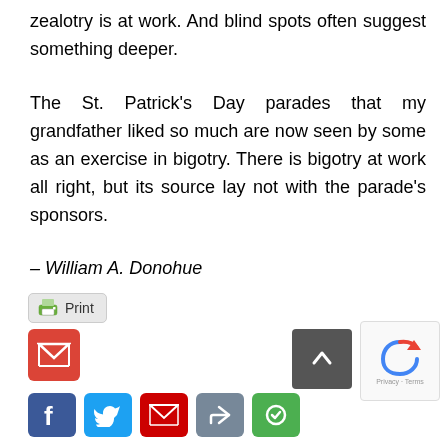zealotry is at work. And blind spots often suggest something deeper.
The St. Patrick’s Day parades that my grandfather liked so much are now seen by some as an exercise in bigotry. There is bigotry at work all right, but its source lay not with the parade’s sponsors.
– William A. Donohue
[Figure (screenshot): Print button, Gmail share icon, scroll-to-top button, reCAPTCHA widget, and social sharing icons (Facebook, Twitter, Gmail, share, green icon)]